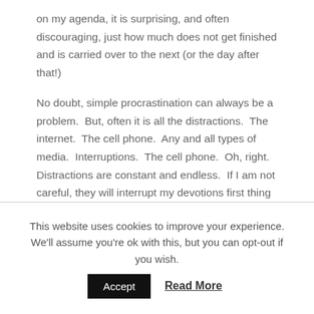on my agenda, it is surprising, and often discouraging, just how much does not get finished and is carried over to the next (or the day after that!)
No doubt, simple procrastination can always be a problem.  But, often it is all the distractions.  The internet.  The cell phone.  Any and all types of media.  Interruptions.  The cell phone.  Oh, right.  Distractions are constant and endless.  If I am not careful, they will interrupt my devotions first thing in the morning and just follow me all day.  I tend to guard my quiet time carefully and set aside all possible distractions the best I can.  And I'm realizing I need more of this purposeful focused time throughout the day.
This website uses cookies to improve your experience. We'll assume you're ok with this, but you can opt-out if you wish.